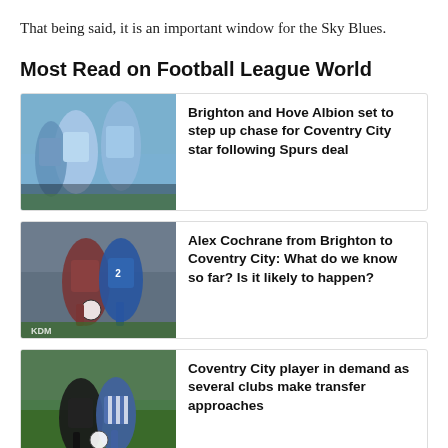That being said, it is an important window for the Sky Blues.
Most Read on Football League World
[Figure (photo): Two Coventry City players in light blue kits celebrating on a football pitch with crowd in background]
Brighton and Hove Albion set to step up chase for Coventry City star following Spurs deal
[Figure (photo): Two football players competing for the ball, one in blue kit and one in dark maroon, with crowd in background]
Alex Cochrane from Brighton to Coventry City: What do we know so far? Is it likely to happen?
[Figure (photo): Football players on grass, one in black and one in blue and white stripes, in a tackle situation]
Coventry City player in demand as several clubs make transfer approaches